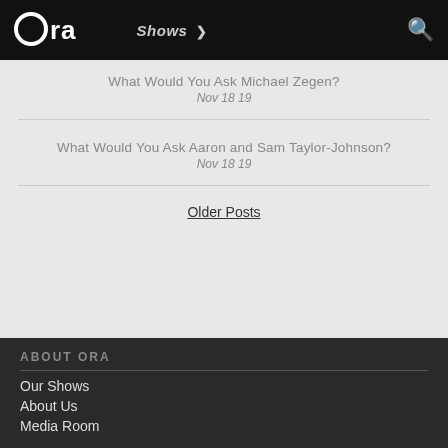ora | Shows >
What Would You Ask Michael Zegen?
Nov 18 19
What Would You Ask Aaron and Sam Taylor-Johnson?
Nov 18 19
Older Posts
ABOUT ORA
Our Shows
About Us
Media Room